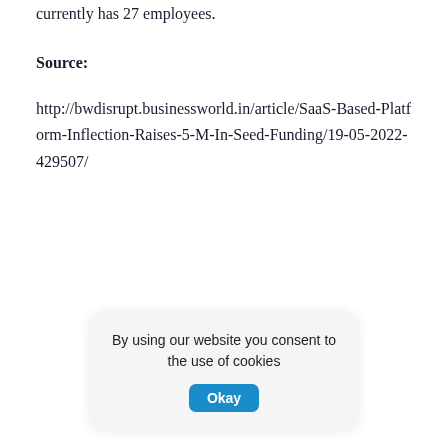currently has 27 employees.
Source:
http://bwdisrupt.businessworld.in/article/SaaS-Based-Platform-Inflection-Raises-5-M-In-Seed-Funding/19-05-2022-429507/
By using our website you consent to the use of cookies Okay